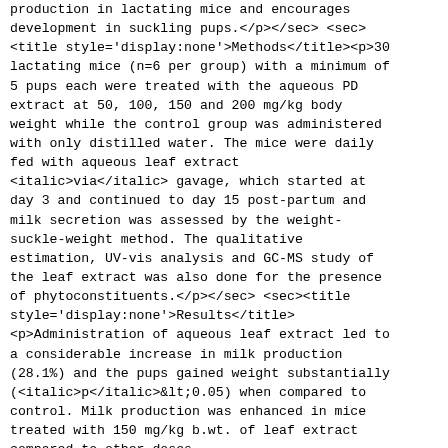production in lactating mice and encourages development in suckling pups.</p></sec> <sec><title style='display:none'>Methods</title><p>30 lactating mice (n=6 per group) with a minimum of 5 pups each were treated with the aqueous PD extract at 50, 100, 150 and 200 mg/kg body weight while the control group was administered with only distilled water. The mice were daily fed with aqueous leaf extract <italic>via</italic> gavage, which started at day 3 and continued to day 15 post-partum and milk secretion was assessed by the weight-suckle-weight method. The qualitative estimation, UV-vis analysis and GC-MS study of the leaf extract was also done for the presence of phytoconstituents.</p></sec> <sec><title style='display:none'>Results</title><p>Administration of aqueous leaf extract led to a considerable increase in milk production (28.1%) and the pups gained weight substantially (<italic>p</italic>&lt;0.05) when compared to control. Milk production was enhanced in mice treated with 150 mg/kg b.wt. of leaf extract compared to other doses (<italic>p</italic>&lt;0.05). The GC-MS analysis of the aqueous leaf extract of <italic>P. daemia</italic> revealed 20 major peaks, some with small retention time and also revealing presence of several phyto-estrogenic compounds.</p></sec> <sec><title